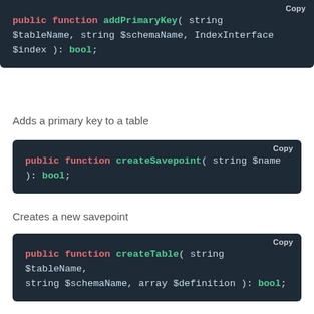[Figure (screenshot): Code block showing: public function addPrimaryKey( string $tableName, string $schemaName, IndexInterface $index ): bool;]
Adds a primary key to a table
[Figure (screenshot): Code block showing: public function createSavepoint( string $name ): bool;]
Creates a new savepoint
[Figure (screenshot): Code block showing: public function createTable( string $tableName, string $schemaName, array $definition ): bool;]
Creates a table
[Figure (screenshot): Code block showing: public function createView( string $viewName,]